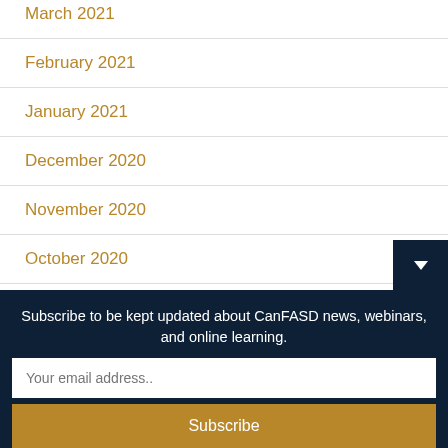March 2021
February 2021
January 2021
December 2020
November 2020
October 2020
September 2020
August 2020
July 2020
Subscribe to be kept updated about CanFASD news, webinars, and online learning.
Your email address..
Subscribe